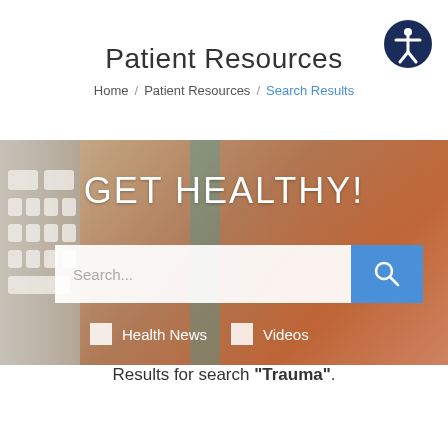Patient Resources
Home / Patient Resources / Search Results
[Figure (screenshot): Hero banner with blurred background of keyboard and medicine bottles, showing GET HEALTHY! heading, a search input box with blue search button, and Health News and Videos checkboxes]
Results for search "Trauma".